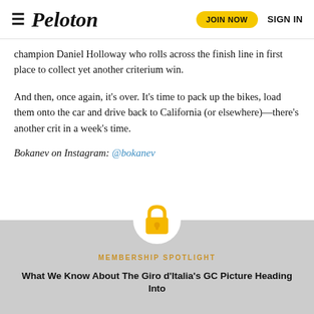Peloton | JOIN NOW | SIGN IN
champion Daniel Holloway who rolls across the finish line in first place to collect yet another criterium win.
And then, once again, it’s over. It’s time to pack up the bikes, load them onto the car and drive back to California (or elsewhere)—there’s another crit in a week’s time.
Bokanev on Instagram: @bokanev
[Figure (illustration): Gold padlock icon inside a white circle, above the Membership Spotlight section]
MEMBERSHIP SPOTLIGHT
What We Know About The Giro d’Italia’s GC Picture Heading Into